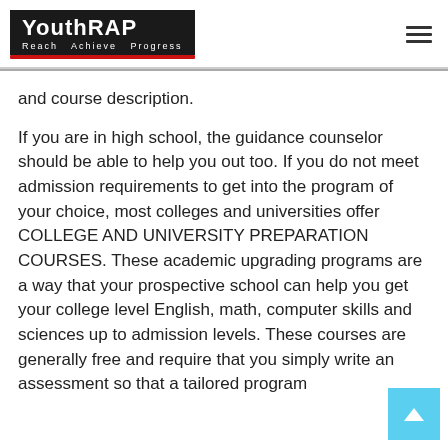YouthRAP — Reach Achieve Progress
and course description.
If you are in high school, the guidance counselor should be able to help you out too. If you do not meet admission requirements to get into the program of your choice, most colleges and universities offer COLLEGE AND UNIVERSITY PREPARATION COURSES. These academic upgrading programs are a way that your prospective school can help you get your college level English, math, computer skills and sciences up to admission levels. These courses are generally free and require that you simply write an assessment so that a tailored program